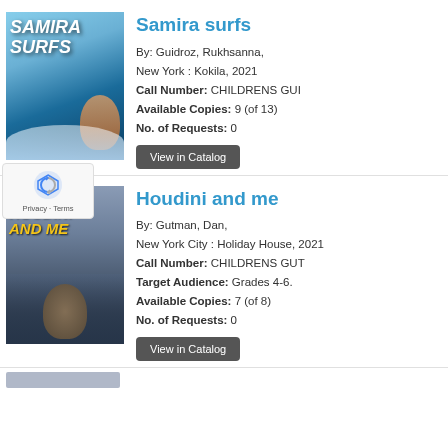[Figure (illustration): Book cover for 'Samira Surfs' showing a girl surfing on a large wave with stylized text]
Samira surfs
By: Guidroz, Rukhsanna, New York : Kokila, 2021
Call Number: CHILDRENS GUI
Available Copies: 9 (of 13)
No. of Requests: 0
[Figure (illustration): Book cover for 'Houdini and Me' by Dan Gutman showing upside-down figure against city background with yellow title text]
Houdini and me
By: Gutman, Dan, New York City : Holiday House, 2021
Call Number: CHILDRENS GUT
Target Audience: Grades 4-6.
Available Copies: 7 (of 8)
No. of Requests: 0